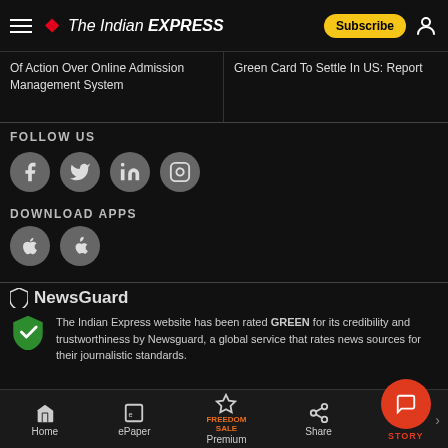The Indian Express
Of Action Over Online Admission Management System
Green Card To Settle In US: Report
FOLLOW US
[Figure (illustration): Social media icons: Facebook, Twitter, LinkedIn, Instagram]
DOWNLOAD APPS
[Figure (illustration): App download icons: Android and Apple]
[Figure (logo): NewsGuard logo with shield icon]
The Indian Express website has been rated GREEN for its credibility and trustworthiness by Newsguard, a global service that rates news sources for their journalistic standards.
Home | ePaper | Premium | Share | STORY